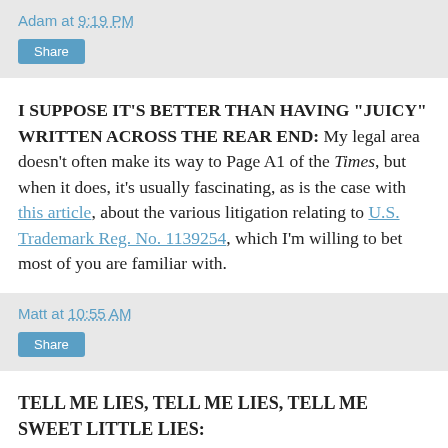Adam at 9:19 PM
Share
I SUPPOSE IT'S BETTER THAN HAVING "JUICY" WRITTEN ACROSS THE REAR END: My legal area doesn't often make its way to Page A1 of the Times, but when it does, it's usually fascinating, as is the case with this article, about the various litigation relating to U.S. Trademark Reg. No. 1139254, which I'm willing to bet most of you are familiar with.
Matt at 10:55 AM
Share
TELL ME LIES, TELL ME LIES, TELL ME SWEET LITTLE LIES: